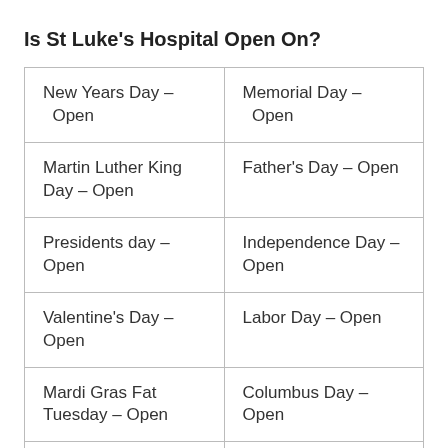Is St Luke's Hospital Open On?
| New Years Day –  Open | Memorial Day –  Open |
| Martin Luther King Day – Open | Father's Day  – Open |
| Presidents day – Open | Independence Day – Open |
| Valentine's Day – Open | Labor Day – Open |
| Mardi Gras Fat Tuesday – Open | Columbus Day  – Open |
| St. Patricks Day  – Open | Veterans Day – Open |